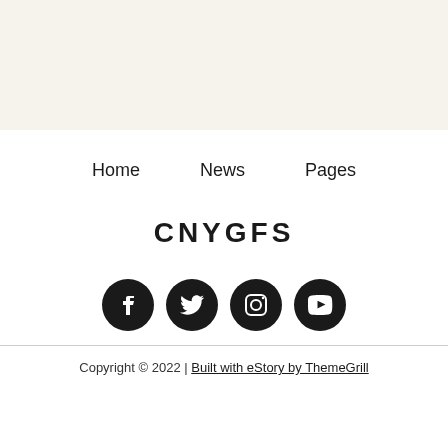[Figure (other): Light beige/cream colored top band background area]
Home
News
Pages
CNYGFS
[Figure (other): Social media icons row: Facebook, Twitter, Instagram, YouTube — all dark filled circles]
Copyright © 2022 | Built with eStory by ThemeGrill